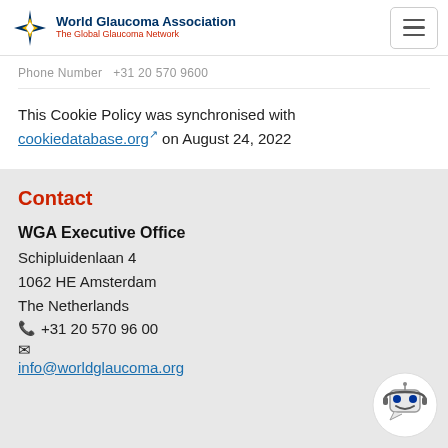World Glaucoma Association – The Global Glaucoma Network
Phone Number  +31 20 570 9600
This Cookie Policy was synchronised with cookiedatabase.org on August 24, 2022
Contact
WGA Executive Office
Schipluidenlaan 4
1062 HE Amsterdam
The Netherlands
+31 20 570 96 00
info@worldglaucoma.org
[Figure (illustration): Chatbot robot face icon in circular bubble, bottom right corner]